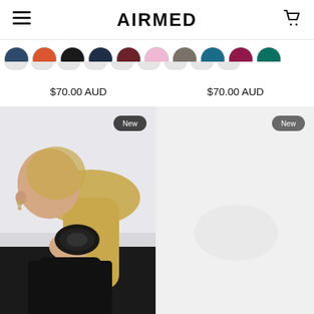AIRMED
[Figure (other): Row of color swatches: navy, orange-red, black, dark navy, dark red/burgundy, light pink, grey, teal, magenta/dark pink, teal/green]
$70.00 AUD
$70.00 AUD
[Figure (photo): Woman with blonde ponytail wearing a black scrunchie with AIRMED branding, viewed from behind. Badge says 'New'.]
[Figure (photo): Light grey/white product image with 'New' badge, product not clearly visible.]